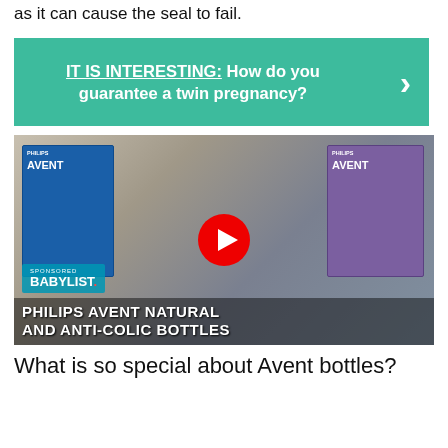as it can cause the seal to fail.
IT IS INTERESTING:  How do you guarantee a twin pregnancy?
[Figure (screenshot): YouTube video thumbnail showing Philips Avent Natural and Anti-Colic Bottles with a red YouTube play button in the center. Text overlays include SPONSORED BABYLIST and PHILIPS AVENT NATURAL AND ANTI-COLIC BOTTLES.]
What is so special about Avent bottles?